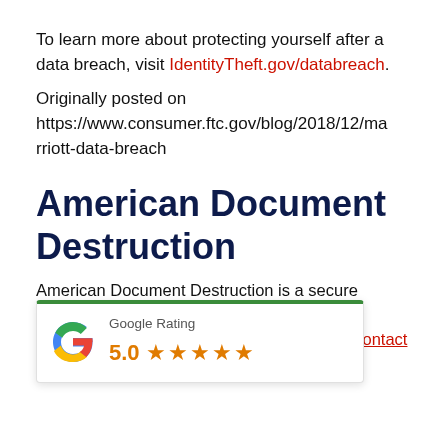To learn more about protecting yourself after a data breach, visit IdentityTheft.gov/databreach.
Originally posted on https://www.consumer.ftc.gov/blog/2018/12/marriott-data-breach
American Document Destruction
American Document Destruction is a secure document shredding company that provides services to protect you from being hacked. Contact us today!
[Figure (other): Google Rating widget showing 5.0 stars with five orange stars and 'Google Rating' label, with green top border]